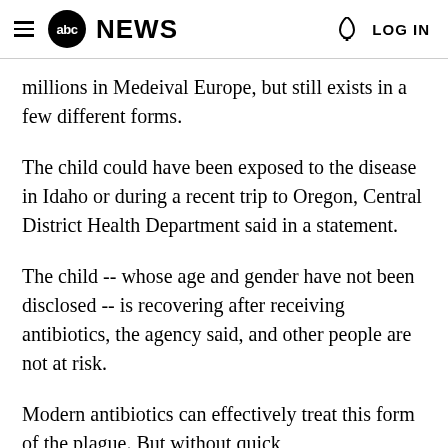abc NEWS  LOG IN
millions in Medeival Europe, but still exists in a few different forms.
The child could have been exposed to the disease in Idaho or during a recent trip to Oregon, Central District Health Department said in a statement.
The child -- whose age and gender have not been disclosed -- is recovering after receiving antibiotics, the agency said, and other people are not at risk.
Modern antibiotics can effectively treat this form of the plague. But without quick